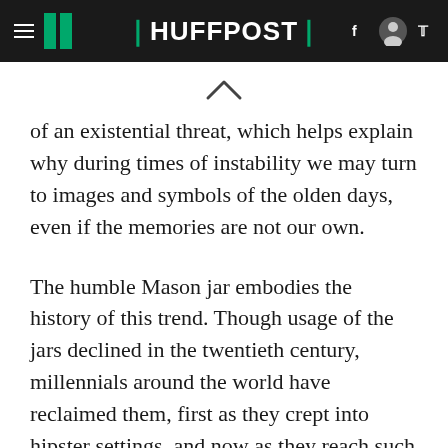HUFFPOST
of an existential threat, which helps explain why during times of instability we may turn to images and symbols of the olden days, even if the memories are not our own.
The humble Mason jar embodies the history of this trend. Though usage of the jars declined in the twentieth century, millennials around the world have reclaimed them, first as they crept into hipster settings, and now as they reach such ubiquity as containers for 7-11 Slurpees. After the jars' steep decline in popularity, there were two